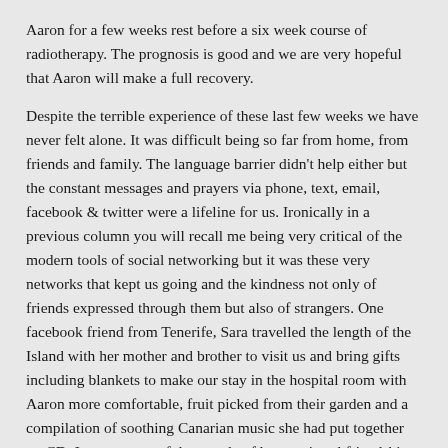Aaron for a few weeks rest before a six week course of radiotherapy. The prognosis is good and we are very hopeful that Aaron will make a full recovery.
Despite the terrible experience of these last few weeks we have never felt alone. It was difficult being so far from home, from friends and family. The language barrier didn't help either but the constant messages and prayers via phone, text, email, facebook & twitter were a lifeline for us. Ironically in a previous column you will recall me being very critical of the modern tools of social networking but it was these very networks that kept us going and the kindness not only of friends expressed through them but also of strangers. One facebook friend from Tenerife, Sara travelled the length of the Island with her mother and brother to visit us and bring gifts including blankets to make our stay in the hospital room with Aaron more comfortable, fruit picked from their garden and a compilation of soothing Canarian music she had put together on CD. It was a powerful example of how a virtual friendship can become real.
Our family and friends have all been wonderful but it was this kindness of strangers that moved us the most. There are too many instances to repeat but all of them demonstrate the potential for goodness that is in everyone created in God's image. God has been present to us through these people – They were the...